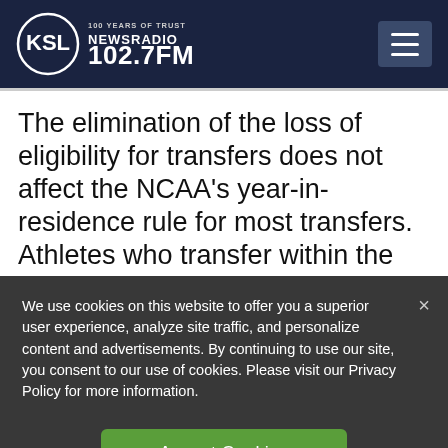[Figure (logo): KSL NewsRadio 102.7FM logo — circular logo with KSL text inside a circle and '100 YEARS OF TRUST' tagline, 'NEWSRADIO 102.7FM' text beside it, on dark navy background]
The elimination of the loss of eligibility for transfers does not affect the NCAA's year-in-residence rule for most transfers. Athletes who transfer within the Pac-12 will still be required to sit out a season in cases when the NCAA does not...
We use cookies on this website to offer you a superior user experience, analyze site traffic, and personalize content and advertisements. By continuing to use our site, you consent to our use of cookies. Please visit our Privacy Policy for more information.
Accept Cookies